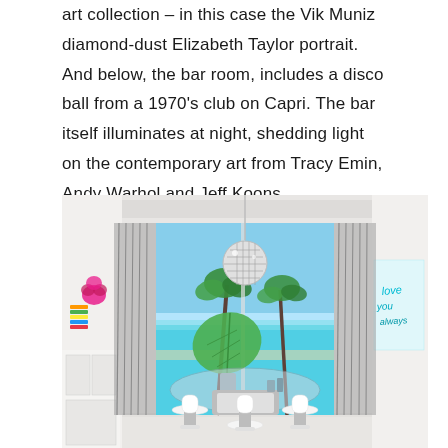art collection – in this case the Vik Muniz diamond-dust Elizabeth Taylor portrait. And below, the bar room, includes a disco ball from a 1970's club on Capri. The bar itself illuminates at night, shedding light on the contemporary art from Tracy Emin, Andy Warhol and Jeff Koons.
[Figure (photo): Interior photo of a modern bar room with white bar stools around a circular glass-top bar, a disco ball pendant light hanging from the ceiling, large windows with grey drapes showing a tropical beach scene with palm trees and turquoise water, large green tropical leaf plant, colorful art on left wall and blue neon-style artwork on right wall.]